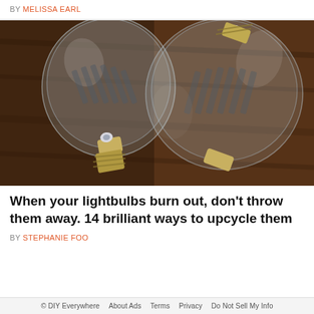BY MELISSA EARL
[Figure (photo): Two large clear glass incandescent light bulbs lying on a dark wooden surface, showing the filaments and brass screw bases inside the transparent glass globes.]
When your lightbulbs burn out, don't throw them away. 14 brilliant ways to upcycle them
BY STEPHANIE FOO
© DIY Everywhere   About Ads   Terms   Privacy   Do Not Sell My Info